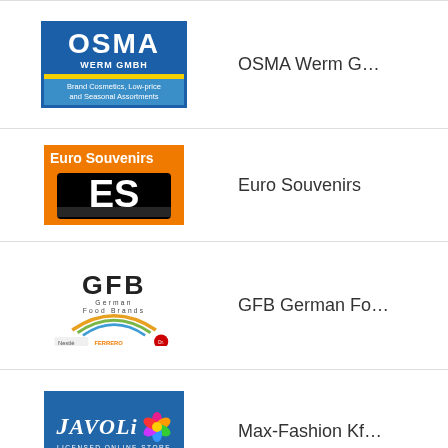[Figure (logo): OSMA Werm GmbH logo - blue border with OSMA text, WERM GMBH subtitle, yellow stripe, Brand Cosmetics Low-price and Seasonal Assortments tagline on blue background]
OSMA Werm G…
[Figure (logo): Euro Souvenirs logo - orange background with white Euro Souvenirs text and large black ES letters]
Euro Souvenirs
[Figure (logo): GFB German Food Brands logo with rainbow arc and Nestlé, Ferrero, Dr. Oetker brand icons]
GFB German Fo…
[Figure (logo): Javoli Licensed Online Store logo - blue background with Javoli italic text and colorful flower icon]
Max-Fashion Kf…